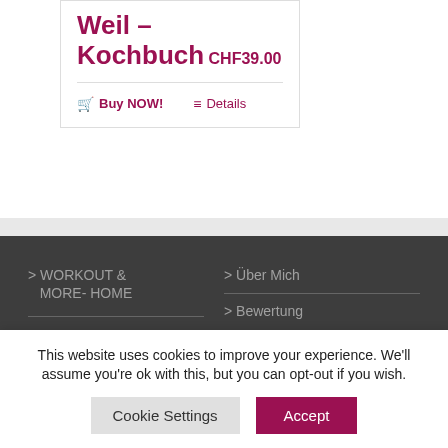Weil – Kochbuch
CHF39.00
Buy NOW!   Details
> WORKOUT & MORE- HOME
> Über Mich
> Bewertung
This website uses cookies to improve your experience. We'll assume you're ok with this, but you can opt-out if you wish.
Cookie Settings   Accept